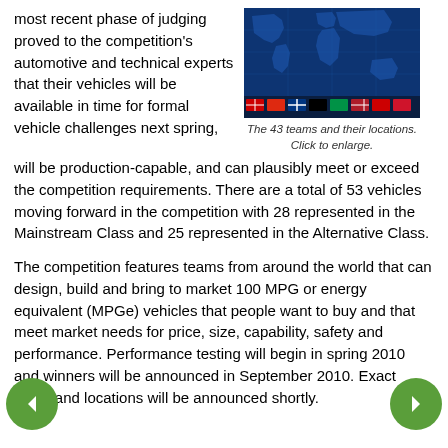most recent phase of judging proved to the competition's automotive and technical experts that their vehicles will be available in time for formal vehicle challenges next spring,
[Figure (map): World map with blue background showing locations of 43 teams with country flags at the bottom]
The 43 teams and their locations. Click to enlarge.
will be production-capable, and can plausibly meet or exceed the competition requirements. There are a total of 53 vehicles moving forward in the competition with 28 represented in the Mainstream Class and 25 represented in the Alternative Class.
The competition features teams from around the world that can design, build and bring to market 100 MPG or energy equivalent (MPGe) vehicles that people want to buy and that meet market needs for price, size, capability, safety and performance. Performance testing will begin in spring 2010 and winners will be announced in September 2010. Exact dates and locations will be announced shortly.